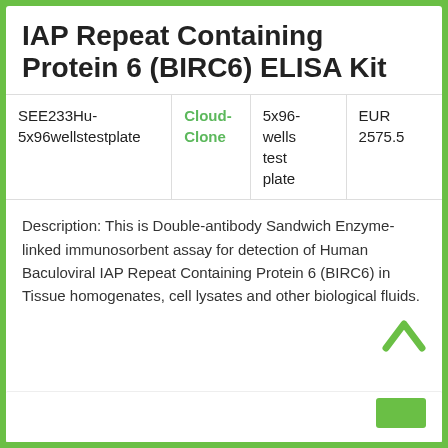IAP Repeat Containing Protein 6 (BIRC6) ELISA Kit
| SKU | Vendor | Size | Price |
| --- | --- | --- | --- |
| SEE233Hu-5x96wellstestplate | Cloud-Clone | 5x96-wells test plate | EUR 2575.5 |
Description: This is Double-antibody Sandwich Enzyme-linked immunosorbent assay for detection of Human Baculoviral IAP Repeat Containing Protein 6 (BIRC6) in Tissue homogenates, cell lysates and other biological fluids.